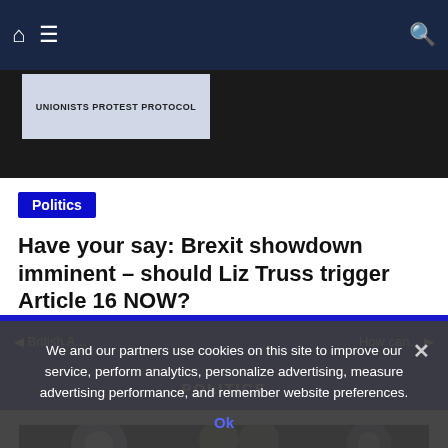Navigation bar with home icon, hamburger menu, and search icon
[Figure (photo): Dark photo showing a protest sign reading UNIONISTS PROTEST PROTOCOL against a dark background]
Politics
Have your say: Brexit showdown imminent – should Liz Truss trigger Article 16 NOW?
◄ British A... | POLITICS | How can... ►
[Figure (photo): Photo of two people on a dark stage with colored stage lights]
We and our partners use cookies on this site to improve our service, perform analytics, personalize advertising, measure advertising performance, and remember website preferences.
Ok